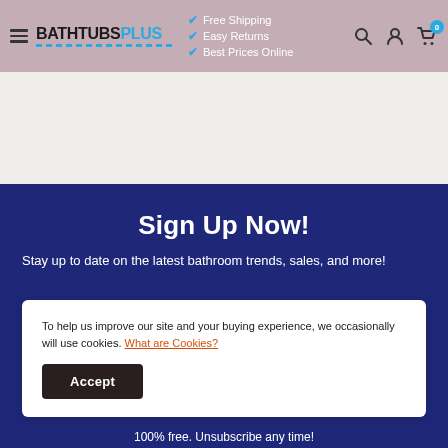BATHTUBS PLUS — Free Shipping, Easy Returns, Best Prices Online
Sign Up Now!
Stay up to date on the latest bathroom trends, sales, and more!
To help us improve our site and your buying experience, we occasionally will use cookies. What are Cookies?
Accept
100% free. Unsubscribe any time!